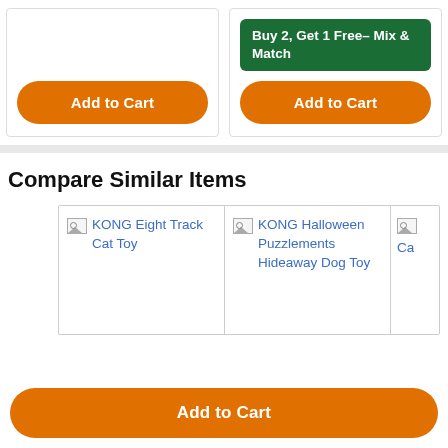[Figure (screenshot): Add to Cart button (orange, rounded) for first product card]
Buy 2, Get 1 Free– Mix & Match
[Figure (screenshot): Add to Cart button (orange, rounded) for second product card]
Compare Similar Items
[Figure (screenshot): KONG Eight Track Cat Toy product image placeholder with blue link text]
[Figure (screenshot): KONG Halloween Puzzlements Hideaway Dog Toy product image placeholder with blue link text]
[Figure (screenshot): Partially visible third product image placeholder]
[Figure (screenshot): Add to Cart button (orange, rounded) at the bottom of the page]